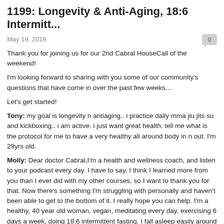1199: Longevity & Anti-Aging, 18:6 Intermitt...
May 19, 2019
Thank you for joining us for our 2nd Cabral HouseCall of the weekend!
I'm looking forward to sharing with you some of our community's questions that have come in over the past few weeks…
Let's get started!
Tony: my goal is longevity n antiaging.. i practice daily mma jiu jits su and kickboxing.. i am active. i just want great health. tell me what is the protocol for me to have a very healthy all around body in n out. I'm 29yrs old.
Molly: Dear doctor Cabral,I'm a health and wellness coach, and listen to your podcast every day. I have to say, I think I learned more from you than I ever did with my other courses, so I want to thank you for that. Now there's something I'm struggling with personally and haven't been able to get to the bottom of it. I really hope you can help. I'm a healthy, 40 year old woman, vegan, meditating every day, exercising 6 days a week, doing 18:6 intermittent fasting. I fall asleep easily around 9.30pm, but wake up every night between 3 and 4 pm, am wide awake and just can't go back to sleep. In the end I doze off an hour or two later, usually just before alarm goes off at 6am. I wake up so tired, and am exhausted and have brain fog throughout the day. Do you have any idea what might be causing this? It would be wonderful if you could give me some tips and ideas what to look for. Thank you so much in advance,